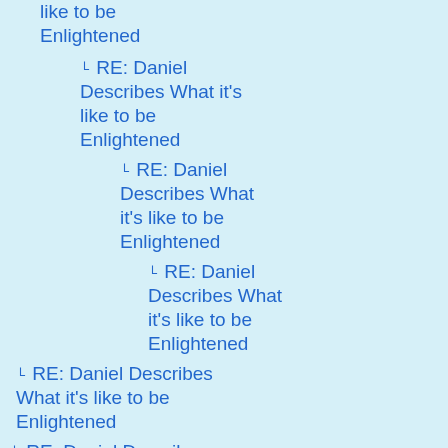like to be Enlightened | Siavash | 10
RE: Daniel Describes What it's like to be Enlightened | Jim Smith | 10
RE: Daniel Describes What it's like to be Enlightened | Linda "Polly Ester" Ö | 10
RE: Daniel Describes What it's like to be Enlightened | terry | 10
RE: Daniel Describes What it's like to be Enlightened | Jim Smith | 10
RE: Daniel Describes